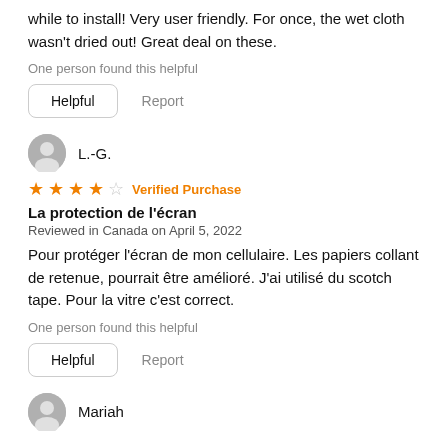while to install! Very user friendly. For once, the wet cloth wasn't dried out! Great deal on these.
One person found this helpful
Helpful   Report
L.-G.
★★★★☆ Verified Purchase
La protection de l'écran
Reviewed in Canada on April 5, 2022
Pour protéger l'écran de mon cellulaire. Les papiers collant de retenue, pourrait être amélioré. J'ai utilisé du scotch tape. Pour la vitre c'est correct.
One person found this helpful
Helpful   Report
Mariah